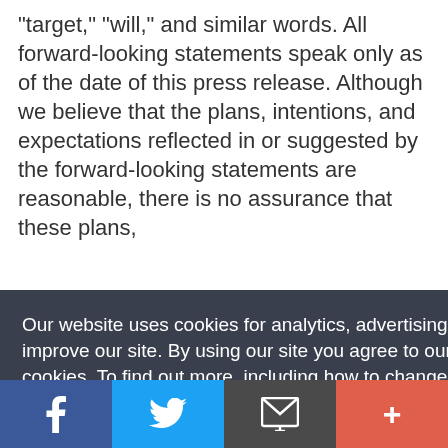"target," "will," and similar words. All forward-looking statements speak only as of the date of this press release. Although we believe that the plans, intentions, and expectations reflected in or suggested by the forward-looking statements are reasonable, there is no assurance that these plans, intentions, or expectations will be achieved. The factors listed above could materially impact results, both implied, or forward-looking, as well as business may be difficult to predict, involve uncertainties that may materially affect results, and are not in our control.
Our website uses cookies for analytics, advertising and to improve our site. By using our site you agree to our use of cookies. To find out more, including how to change your settings, see our Cookie Policy  Learn More
[Figure (screenshot): Social sharing bar with Facebook, Twitter, Email, and More (+) buttons]